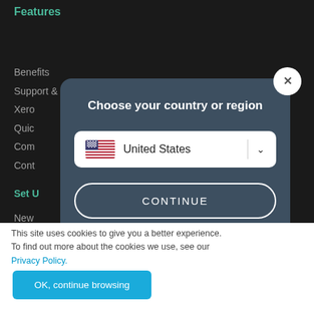Features
Benefits
Support & FAQ
Xero
Quic
Com
Cont
Set U
New
Glob
Aust
Cana
[Figure (screenshot): Modal dialog with title 'Choose your country or region', a dropdown showing 'United States' with a US flag and chevron, and a CONTINUE button. Close (X) button in top right corner.]
This site uses cookies to give you a better experience. To find out more about the cookies we use, see our Privacy Policy.
OK, continue browsing